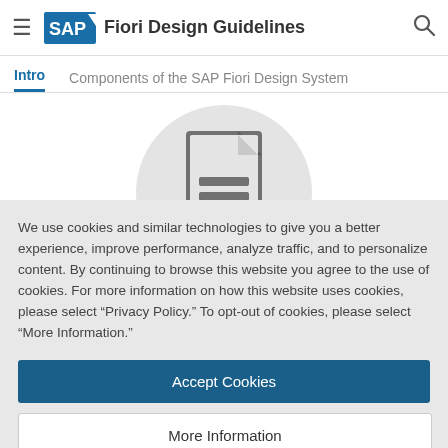SAP Fiori Design Guidelines
Intro | Components of the SAP Fiori Design System
[Figure (illustration): Document icon (a stylized page with lines) centered inside a light gray circle, shown on a white background behind the cookie consent overlay]
We use cookies and similar technologies to give you a better experience, improve performance, analyze traffic, and to personalize content. By continuing to browse this website you agree to the use of cookies. For more information on how this website uses cookies, please select “Privacy Policy.” To opt-out of cookies, please select “More Information.”
Accept Cookies
More Information
Privacy Policy | Powered by: TrustArc